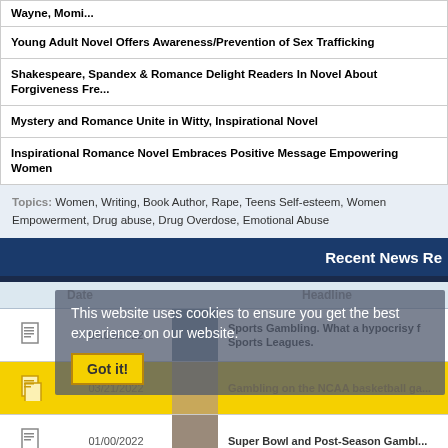| Wayne, Momi... |
| Young Adult Novel Offers Awareness/Prevention of Sex Trafficking |
| Shakespeare, Spandex & Romance Delight Readers In Novel About Forgiveness Fre... |
| Mystery and Romance Unite in Witty, Inspirational Novel |
| Inspirational Romance Novel Embraces Positive Message Empowering Women |
Topics: Women, Writing, Book Author, Rape, Teens Self-esteem, Women Empowerment, Drug abuse, Drug Overdose, Emotional Abuse
Recent News Re...
| Date | Headline |
| --- | --- |
| 06/03/2022 | Sports Gambling. What a hypocrisy f... Sports Leagues. |
| 03/21/2022 | Gambling on the NCAA basketball ga... |
| 01/00/0000 | Super Bowl and Post-Season Gambli... |
This website uses cookies to ensure you get the best experience on our website.
Got it!